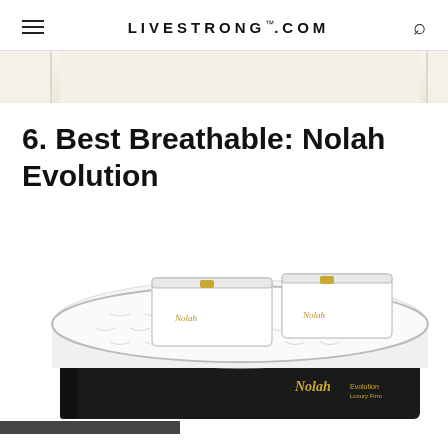LIVESTRONG.COM
[Figure (photo): Partial view of a mattress or product image strip at top of page, beige/cream colored background]
6. Best Breathable: Nolah Evolution
[Figure (photo): Nolah Evolution mattress product photo showing a white quilted pillow-top mattress with dark navy/black base, two white pillows with gold Nolah logo on top, and Nolah Evolution Luxury Firm branding on the side]